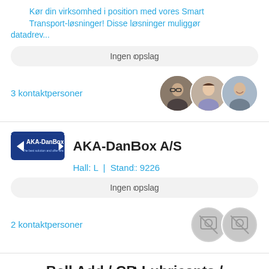Kør din virksomhed i position med vores Smart Transport-løsninger! Disse løsninger muliggør datadrev...
Ingen opslag
3 kontaktpersoner
[Figure (photo): Three circular portrait photos of contacts]
AKA-DanBox A/S
[Figure (logo): AKA-DanBox logo with blue background]
Hall: L  |  Stand: 9226
Ingen opslag
2 kontaktpersoner
[Figure (photo): Two circular placeholder/camera icon avatars]
Bell Add / CB Lubricants /